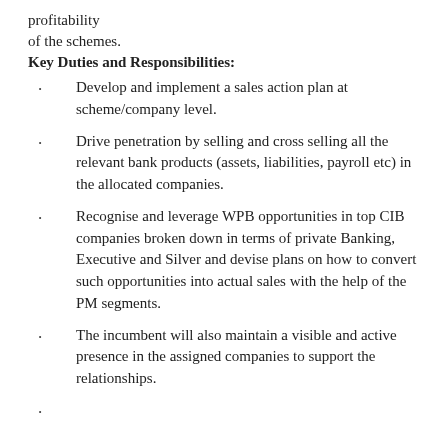profitability of the schemes.
Key Duties and Responsibilities:
Develop and implement a sales action plan at scheme/company level.
Drive penetration by selling and cross selling all the relevant bank products (assets, liabilities, payroll etc) in the allocated companies.
Recognise and leverage WPB opportunities in top CIB companies broken down in terms of private Banking, Executive and Silver and devise plans on how to convert such opportunities into actual sales with the help of the PM segments.
The incumbent will also maintain a visible and active presence in the assigned companies to support the relationships.